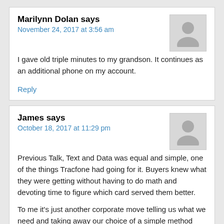Marilynn Dolan says
November 24, 2017 at 3:56 am
I gave old triple minutes to my grandson. It continues as an additional phone on my account.
Reply
James says
October 18, 2017 at 11:29 pm
Previous Talk, Text and Data was equal and simple, one of the things Tracfone had going for it. Buyers knew what they were getting without having to do math and devoting time to figure which card served them better.
To me it's just another corporate move telling us what we need and taking away our choice of a simple method that worked for us while hiding a rate increase in the background.